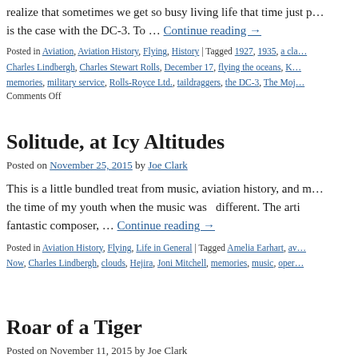realize that sometimes we get so busy living life that time just p… is the case with the DC-3. To … Continue reading →
Posted in Aviation, Aviation History, Flying, History | Tagged 1927, 1935, a cla… Charles Lindbergh, Charles Stewart Rolls, December 17, flying the oceans, K… memories, military service, Rolls-Royce Ltd., taildraggers, the DC-3, The Moj…
Comments Off
Solitude, at Icy Altitudes
Posted on November 25, 2015 by Joe Clark
This is a little bundled treat from music, aviation history, and m… the time of my youth when the music was … different. The arti fantastic composer, … Continue reading →
Posted in Aviation History, Flying, Life in General | Tagged Amelia Earhart, av… Now, Charles Lindbergh, clouds, Hejira, Joni Mitchell, memories, music, oper…
Roar of a Tiger
Posted on November 11, 2015 by Joe Clark